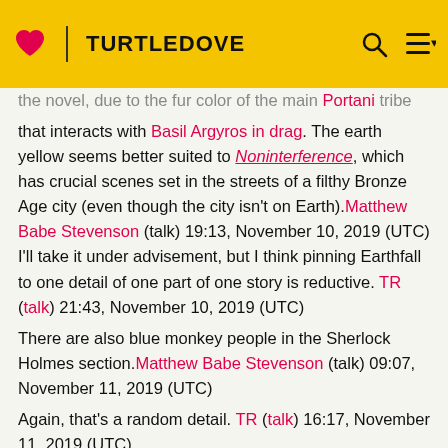TURTLEDOVE
the novel, due to the fur color of the main Portani tribe that interacts with Basil Argyros in drag. The earth yellow seems better suited to Noninterference, which has crucial scenes set in the streets of a filthy Bronze Age city (even though the city isn't on Earth). Matthew Babe Stevenson (talk) 19:13, November 10, 2019 (UTC) I'll take it under advisement, but I think pinning Earthfall to one detail of one part of one story is reductive. TR (talk) 21:43, November 10, 2019 (UTC)
There are also blue monkey people in the Sherlock Holmes section. Matthew Babe Stevenson (talk) 09:07, November 11, 2019 (UTC)
Again, that's a random detail. TR (talk) 16:17, November 11, 2019 (UTC)
Another point, the template is locked. The list of POVs is